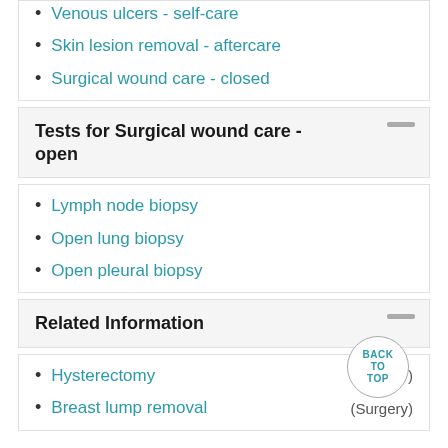Venous ulcers - self-care
Skin lesion removal - aftercare
Surgical wound care - closed
Tests for Surgical wound care - open
Lymph node biopsy
Open lung biopsy
Open pleural biopsy
Related Information
Hysterectomy (Surgery)
Breast lump removal (Surgery)